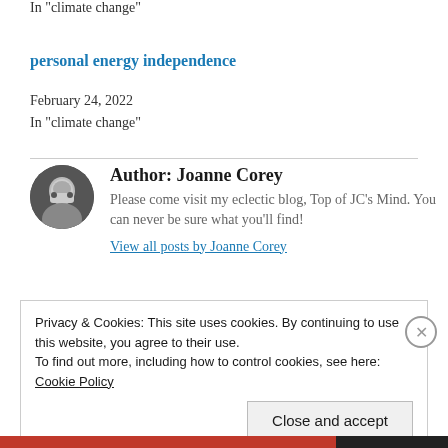In "climate change"
personal energy independence
February 24, 2022
In "climate change"
Author: Joanne Corey
Please come visit my eclectic blog, Top of JC's Mind. You can never be sure what you'll find!
View all posts by Joanne Corey
Privacy & Cookies: This site uses cookies. By continuing to use this website, you agree to their use.
To find out more, including how to control cookies, see here:
Cookie Policy
Close and accept